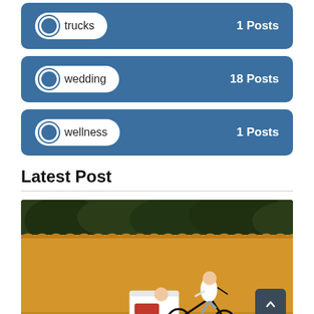trucks — 1 Posts
wedding — 18 Posts
wellness — 1 Posts
Latest Post
[Figure (photo): A person riding a cargo bicycle with a child in the front box, against a bright yellow wall background with green trees above.]